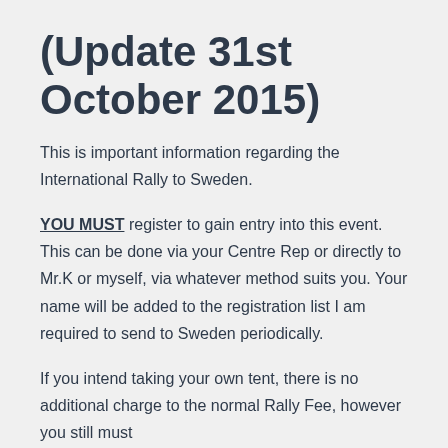(Update 31st October 2015)
This is important information regarding the International Rally to Sweden.
YOU MUST register to gain entry into this event. This can be done via your Centre Rep or directly to Mr.K or myself, via whatever method suits you. Your name will be added to the registration list I am required to send to Sweden periodically.
If you intend taking your own tent, there is no additional charge to the normal Rally Fee, however you still must